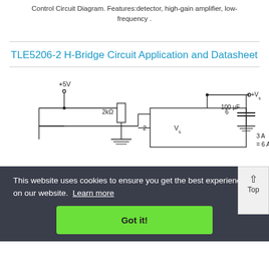Control Circuit Diagram. Features:detector, high-gain amplifier, low-frequency .
TLE5206-2 H-Bridge Circuit Application and Datasheet
[Figure (circuit-diagram): Partial circuit diagram showing a +5V supply, 2kΩ resistor, TLE5206-2 IC with pins labeled (pin 2, pin 6, Vs), 100μF capacitor, and +Vs connection. Labels include 3A and 6A current ratings.]
This website uses cookies to ensure you get the best experience on our website. Learn more
Got it!